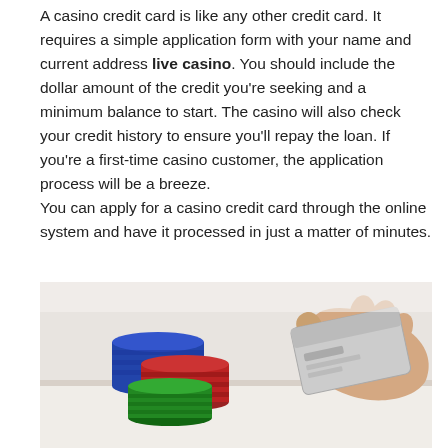A casino credit card is like any other credit card. It requires a simple application form with your name and current address live casino. You should include the dollar amount of the credit you're seeking and a minimum balance to start. The casino will also check your credit history to ensure you'll repay the loan. If you're a first-time casino customer, the application process will be a breeze. You can apply for a casino credit card through the online system and have it processed in just a matter of minutes.
[Figure (photo): A hand holding a credit card next to stacked casino chips (blue, red, green) on a white surface.]